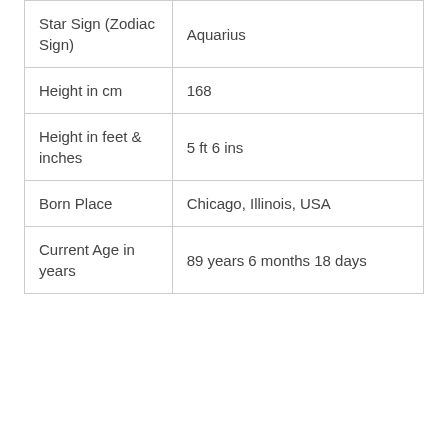| Star Sign (Zodiac Sign) | Aquarius |
| Height in cm | 168 |
| Height in feet & inches | 5 ft 6 ins |
| Born Place | Chicago, Illinois, USA |
| Current Age in years | 89 years 6 months 18 days |